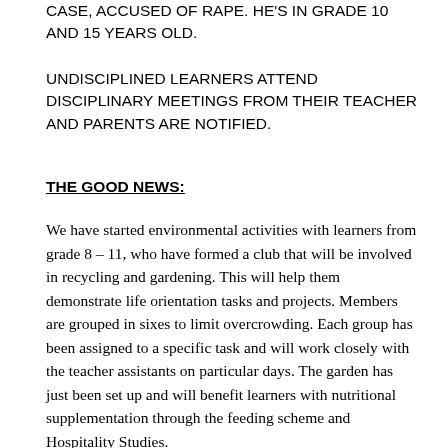CASE, ACCUSED OF RAPE. HE'S IN GRADE 10 AND 15 YEARS OLD.
UNDISCIPLINED LEARNERS ATTEND DISCIPLINARY MEETINGS FROM THEIR TEACHER AND PARENTS ARE NOTIFIED.
THE GOOD NEWS:
We have started environmental activities with learners from grade 8 – 11, who have formed a club that will be involved in recycling and gardening. This will help them demonstrate life orientation tasks and projects. Members are grouped in sixes to limit overcrowding. Each group has been assigned to a specific task and will work closely with the teacher assistants on particular days. The garden has just been set up and will benefit learners with nutritional supplementation through the feeding scheme and Hospitality Studies.